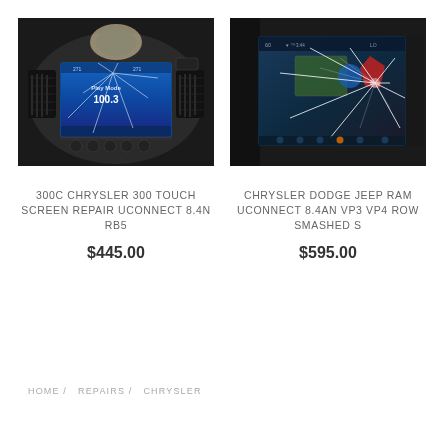[Figure (photo): Photo of a Chrysler 300 cracked touchscreen infotainment unit showing radio display with 100.3]
300C CHRYSLER 300 TOUCH SCREEN REPAIR UCONNECT 8.4N RB5
$445.00
[Figure (photo): Photo of a Chrysler Dodge Jeep Ram UConnect 8.4AN smashed/cracked touchscreen]
CHRYSLER DODGE JEEP RAM UCONNECT 8.4AN VP3 VP4 ROW SMASHED S
$595.00
HOME /   REPAIRS /   CHRYSLER